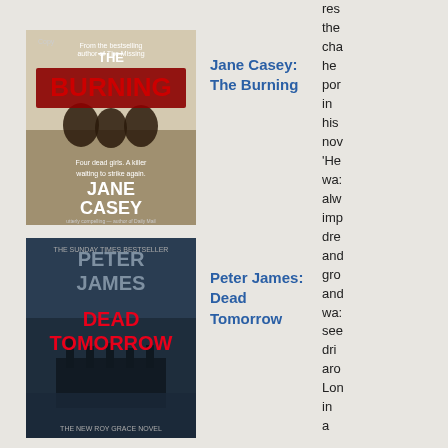[Figure (photo): Book cover: The Burning by Jane Casey – dark cover with silhouettes of figures and text 'Four dead girls. A killer waiting to strike again.' JANE CASEY]
Jane Casey: The Burning
[Figure (photo): Book cover: Dead Tomorrow by Peter James – THE SUNDAY TIMES BESTSELLER, PETER JAMES, DEAD TOMORROW, image of pier, THE NEW ROY GRACE NOVEL]
Peter James: Dead Tomorrow
[Figure (photo): Book cover: Tess – dark blue cover with close-up of hands and eyes, TESS text]
Tess
res the cha he por in his nov 'He wa: alw imp dre and gro and wa: see dri aro Lon in a